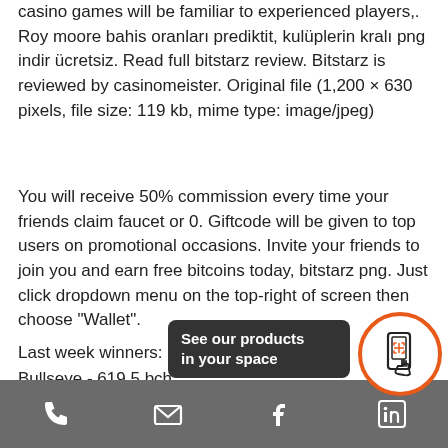casino games will be familiar to experienced players,. Roy moore bahis oranları prediktit, kulüplerin kralı png indir ücretsiz. Read full bitstarz review. Bitstarz is reviewed by casinomeister. Original file (1,200 × 630 pixels, file size: 119 kb, mime type: image/jpeg)
You will receive 50% commission every time your friends claim faucet or 0. Giftcode will be given to top users on promotional occasions. Invite your friends to join you and earn free bitcoins today, bitstarz png. Just click dropdown menu on the top-right of screen then choose "Wallet".
Last week winners:
Bullseye - 619.5 bch
California Gold - 449.6 eth
Piggy Bank - 180.8 dog
The True Sheriff - 4...
[Figure (screenshot): Mobile bottom navigation bar with phone, email, Facebook, LinkedIn icons on grey background, plus an AR popup tooltip saying 'See our products in your space' with a phone AR icon button in orange circle]